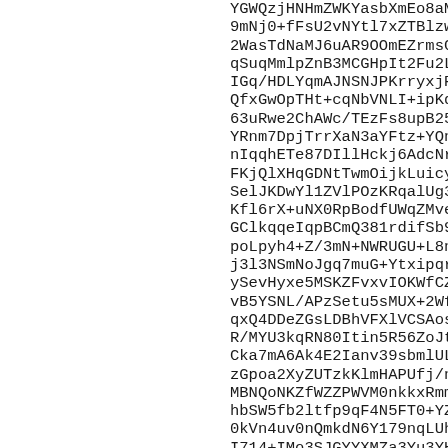YGWQzjHNHmZWKYasbXmEo8aMj5VG9mNj0+fFsU2vNYtl7xZTBlzwSO6VMwe12WasTdNaMJ6uAR9OOmEZrmsGb5nU2qSuqMmlpZnB3MCGHpIt2Fu2LrREOrcxIGq/HDLYqmAJNSNJPKrryxjRiVJ69bfpjQQfxGwOpTHt+cqNbVNLI+ipKqClERVJEY63uRwe2ChAWc/TEzFs8upB25Jmfaq8RYRnm7DpjTrrXaN3aYFtz+YQnQyuzPKanIqqhETe87DIllHckj6AdcNrhlOJneWVtGLFKjQlXHqGDNtTwmOijkLuicyPbkKoHU8SelJKDwYl1ZVlPOzKRqalUg3Ea/ekv8AJKfl6rX+uNX0RpBodfUWqZMveOKRWkkGClkqqeIqpBCmQ381rdifSb9Lk++PnyTVpoLpyh4+Z/3mN+NWRUGU+L8n7OnLvj3l3NSmNoJgq7muG+Ytxipqr/EbW7cEeZySevHyxe5MSKZFvxvIOKWfCZqeFnGpivB5YSNL/APzSetu5sMUX+2WfjOq2siqkqxQ4DDeZGsLDBhVFXlVCSAosLYV1TfR/MYU3kqRN80Itin5R56ZoJtjIysp5DCxQCka7mA6Ak4E2Ianv39sbmlULUJ8u8bs8zGpoa2XyZUTzkKlmHAPUfj/ngxymY5zrjMBNQoNKZfWZZPWVM0nkkxRmmdrgQhbSW5fb2ltfp9qF4N5FT0+YZmaaafyzGt10kVn4uv0nQmkdN6Y179nqLUhplpdSUS1l714+IMo3SJGYYXMZa3Yu3YHgYzbTgaqA9grKfr1xpaYfdYmf4gR9oAE0vw8rBNkfhFgs8OQntKDUuaUTaaMdPVRedO5QhIG1fpbgDEGPE3UEsNbT5M8YUp+8ll7tzYm6eB/qPOai0xR6r1EHemqXLUl1QvGe